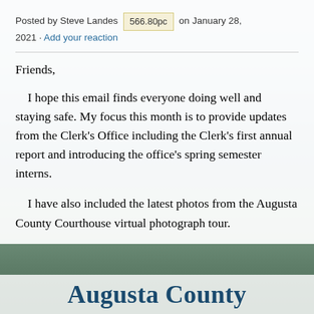Posted by Steve Landes 566.80pc on January 28, 2021 · Add your reaction
Friends,
I hope this email finds everyone doing well and staying safe. My focus this month is to provide updates from the Clerk's Office including the Clerk's first annual report and introducing the office's spring semester interns.
I have also included the latest photos from the Augusta County Courthouse virtual photograph tour.
Augusta County